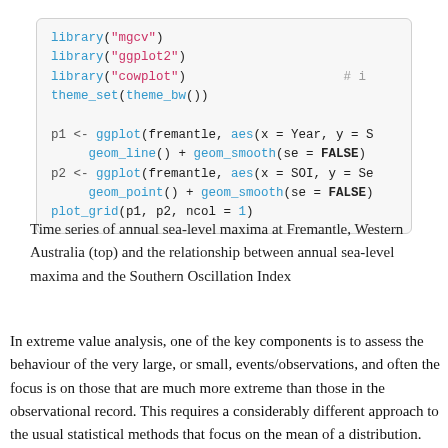library("mgcv")
library("ggplot2")
library("cowplot")                    # i
theme_set(theme_bw())

p1 <- ggplot(fremantle, aes(x = Year, y = S
     geom_line() + geom_smooth(se = FALSE)
p2 <- ggplot(fremantle, aes(x = SOI, y = Se
     geom_point() + geom_smooth(se = FALSE)
plot_grid(p1, p2, ncol = 1)
Time series of annual sea-level maxima at Fremantle, Western Australia (top) and the relationship between annual sea-level maxima and the Southern Oscillation Index
In extreme value analysis, one of the key components is to assess the behaviour of the very large, or small, events/observations, and often the focus is on those that are much more extreme than those in the observational record. This requires a considerably different approach to the usual statistical methods that focus on the mean of a distribution. Whilst we could approach the analysis of data like that in fremantle from the view point of traditional methods employing the